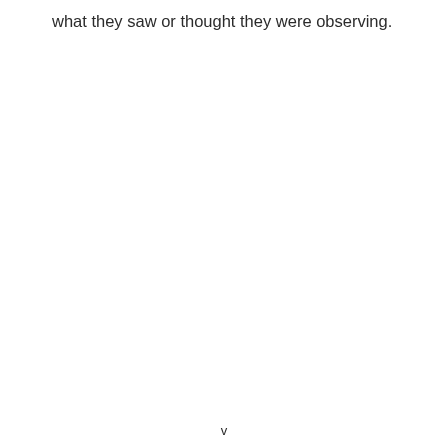what they saw or thought they were observing.
v